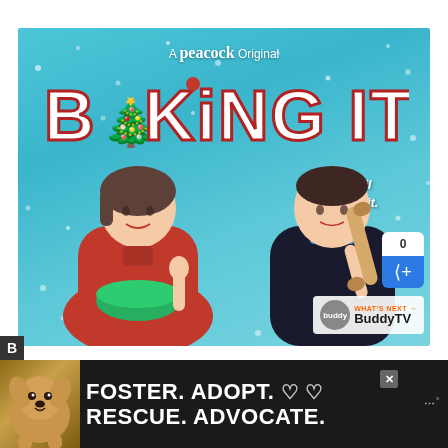[Figure (photo): Promotional image for 'Baking It', a Peacock Original show. Two people stand against a snowy blue background. A woman in a red dress holds a green mixing bowl and a man in a dark sweater holds a rolling pin. The title 'BAKING IT' is displayed in decorative gingerbread-style letters with a Christmas tree replacing the 'A'. Text reads 'A peacock Original' and 'Bake it til you make it.' A share button (0 shares) and BuddyTV watermark are visible.]
[Figure (infographic): Advertisement banner with dark background. Features a dog photo on the left with bold white text reading 'FOSTER. ADOPT. RESCUE. ADVOCATE.' with heart symbols. A close/X button and dots menu are visible on the right.]